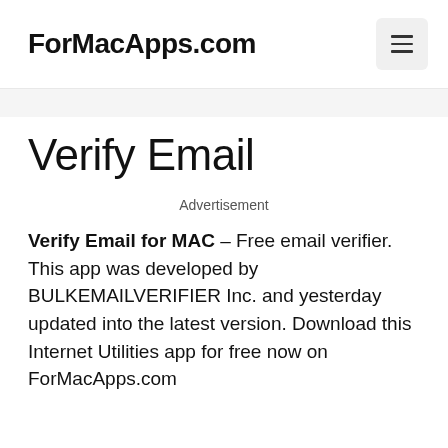ForMacApps.com
Verify Email
Advertisement
Verify Email for MAC – Free email verifier. This app was developed by BULKEMAILVERIFIER Inc. and yesterday updated into the latest version. Download this Internet Utilities app for free now on ForMacApps.com